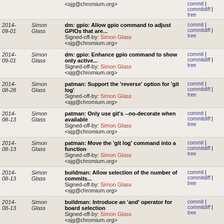| Date | Author | Commit | Links |
| --- | --- | --- | --- |
|  |  | <sjg@chromium.org> | commit | commitdiff | tree |
| 2014-09-01 | Simon Glass | dm: gpio: Allow gpio command to adjust GPIOs that are...
Signed-off-by: Simon Glass <sjg@chromium.org> | commit | commitdiff | tree |
| 2014-09-01 | Simon Glass | dm: gpio: Enhance gpio command to show only active...
Signed-off-by: Simon Glass <sjg@chromium.org> | commit | commitdiff | tree |
| 2014-08-28 | Simon Glass | patman: Support the 'reverse' option for 'git log'
Signed-off-by: Simon Glass <sjg@chromium.org> | commit | commitdiff | tree |
| 2014-08-13 | Simon Glass | patman: Only use git's --no-decorate when available
Signed-off-by: Simon Glass <sjg@chromium.org> | commit | commitdiff | tree |
| 2014-08-13 | Simon Glass | patman: Move the 'git log' command into a function
Signed-off-by: Simon Glass <sjg@chromium.org> | commit | commitdiff | tree |
| 2014-08-13 | Simon Glass | buildman: Allow selection of the number of commits...
Signed-off-by: Simon Glass <sjg@chromium.org> | commit | commitdiff | tree |
| 2014-08-13 | Simon Glass | buildman: Introduce an 'and' operator for board selection
Signed-off-by: Simon Glass | commit | commitdiff | tree |